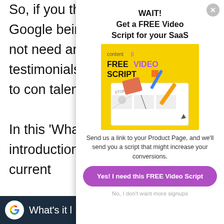So, if you thought Google being Google did not need any testimonials, challenging to con talent.
In this 'What's it li on introduction to from their current
We must say the Attractive visuals job of conveying t
[Figure (screenshot): Modal popup overlay with WAIT! Get a FREE Video Script for your SaaS heading, a yellow card image showing FREE VIDEO SCRIPT with storyboard illustration, body text, a purple CTA button, and a decline link.]
WAIT!
Get a FREE Video Script for your SaaS
Send us a link to your Product Page, and we'll send you a script that might increase your conversions.
Yes! I need this FREE Video Script
No, I don't want more signups
What's it l